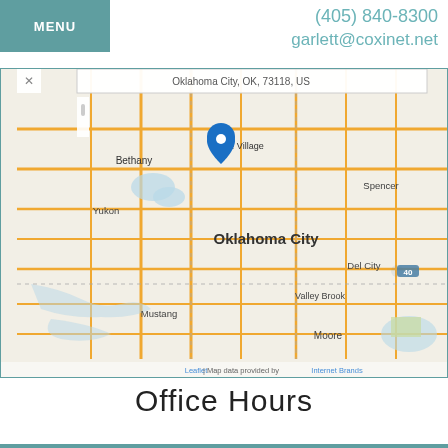MENU
(405) 840-8300
garlett@coxinet.net
[Figure (map): Street map of Oklahoma City, OK area showing location pin near Bethany/The Village area. Map shows surrounding areas including Yukon, Bethany, Spencer, Del City, Valley Brook, Mustang, Moore, and Oklahoma City center. Blue location pin marker visible near The Village/Bethany area. Map attribution shows Leaflet | Map data provided by Internet Brands.]
Office Hours